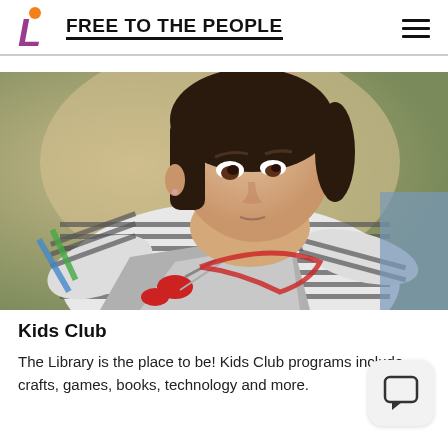FREE TO THE PEOPLE
[Figure (photo): A young girl with dark hair wearing a striped long-sleeve shirt, focused on cutting grey paper with red-handled scissors. Craft activity in warm blurred background.]
Kids Club
The Library is the place to be! Kids Club programs include crafts, games, books, technology and more.